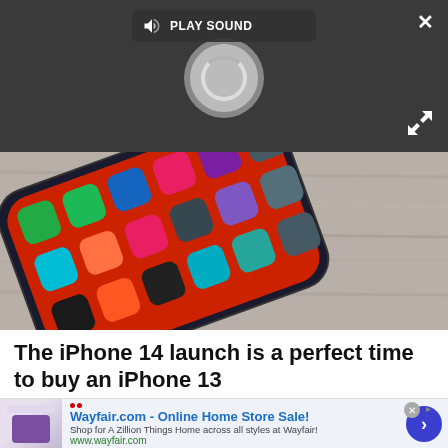[Figure (screenshot): Dark video overlay with PLAY SOUND button, spinner/loading circle, close X button and expand arrows icon on dark gray background]
[Figure (photo): iPhone lying at an angle on a wooden surface showing home screen with colorful app icons]
The iPhone 14 launch is a perfect time to buy an iPhone 13
The iPhone 13 isn't a bad value proposition right now, but very soon, it could get a lot better.
[Figure (screenshot): Wayfair.com advertisement banner: 'Wayfair.com - Online Home Store Sale!' with tagline 'Shop for A Zillion Things Home across all styles at Wayfair!' and url www.wayfair.com, with blue arrow CTA button]